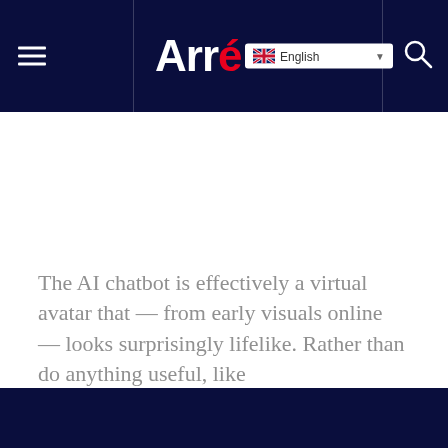Arré — English
The AI chatbot is effectively a virtual avatar that — from early visuals online — looks surprisingly lifelike. Rather than do anything useful, like